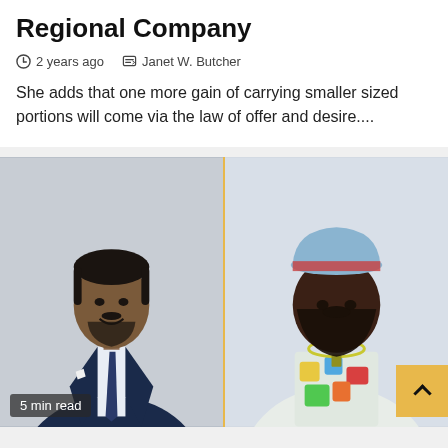Regional Company
2 years ago   Janet W. Butcher
She adds that one more gain of carrying smaller sized portions will come via the law of offer and desire....
[Figure (photo): Two-panel image: left panel shows a man in a dark navy suit with tie smiling; right panel shows a bearded man in a graphic sweatshirt and blue cap with chain necklace.]
5 min read